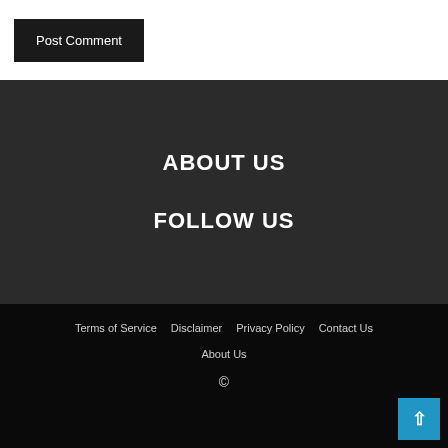Post Comment
ABOUT US
FOLLOW US
Terms of Service   Disclaimer   Privacy Policy   Contact Us   About Us   ©